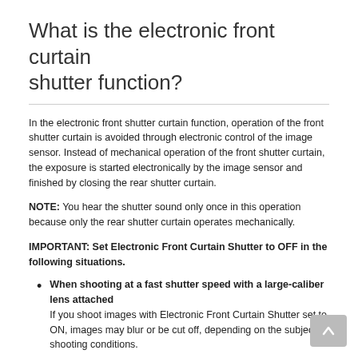What is the electronic front curtain shutter function?
In the electronic front shutter curtain function, operation of the front shutter curtain is avoided through electronic control of the image sensor. Instead of mechanical operation of the front shutter curtain, the exposure is started electronically by the image sensor and finished by closing the rear shutter curtain.
NOTE: You hear the shutter sound only once in this operation because only the rear shutter curtain operates mechanically.
IMPORTANT: Set Electronic Front Curtain Shutter to OFF in the following situations.
When shooting at a fast shutter speed with a large-caliber lens attached
If you shoot images with Electronic Front Curtain Shutter set to ON, images may blur or be cut off, depending on the subject or shooting conditions.